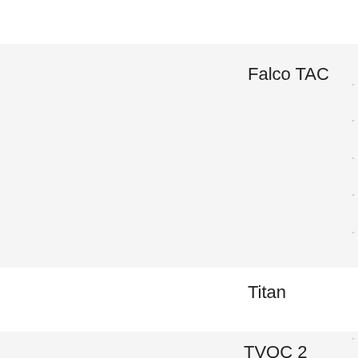Falco TAC
Titan
TVOC 2
Contact Us